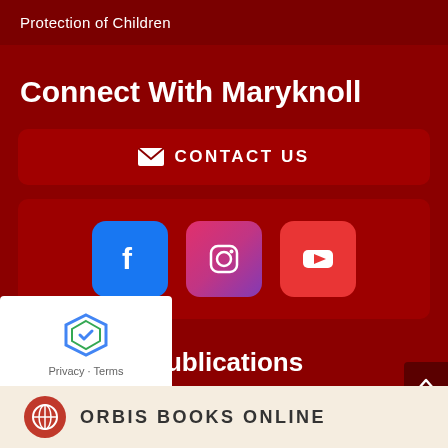Protection of Children
Connect With Maryknoll
✉ CONTACT US
[Figure (infographic): Social media icons: Facebook (blue), Instagram (pink/purple gradient), YouTube (red)]
Maryknoll Publications
ORBIS BOOKS ONLINE